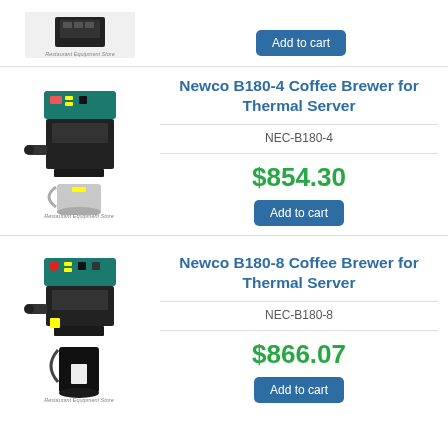[Figure (photo): Partial view of coffee machine product image at top]
Restaurant Equipment Store
Add to cart
[Figure (photo): Newco B180-4 coffee brewer for thermal server product image]
Restaurant Equipment Store
Newco B180-4 Coffee Brewer for Thermal Server
NEC-B180-4
$854.30
Add to cart
[Figure (photo): Newco B180-8 coffee brewer for thermal server product image]
Restaurant Equipment Store
Newco B180-8 Coffee Brewer for Thermal Server
NEC-B180-8
$866.07
Add to cart